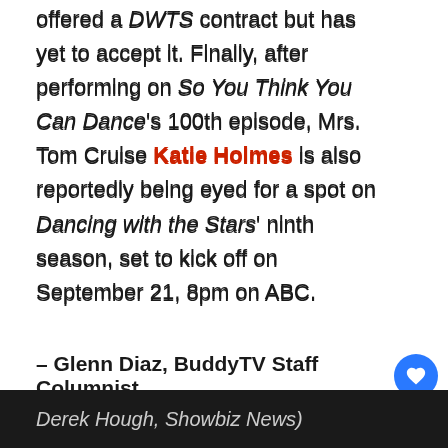offered a DWTS contract but has yet to accept it. Finally, after performing on So You Think You Can Dance's 100th episode, Mrs. Tom Cruise Katie Holmes is also reportedly being eyed for a spot on Dancing with the Stars' ninth season, set to kick off on September 21, 8pm on ABC.
– Glenn Diaz, BuddyTV Staff Columnist
Source: Examiner
(Image courtesy of Spike TV, TV Cocktail, Pure Derek Hough, Showbiz News)